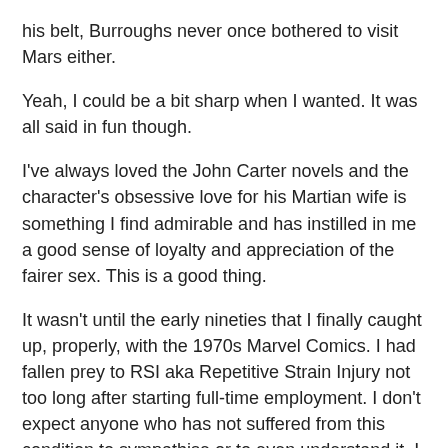his belt, Burroughs never once bothered to visit Mars either.
Yeah, I could be a bit sharp when I wanted. It was all said in fun though.
I've always loved the John Carter novels and the character's obsessive love for his Martian wife is something I find admirable and has instilled in me a good sense of loyalty and appreciation of the fairer sex. This is a good thing.
It wasn't until the early nineties that I finally caught up, properly, with the 1970s Marvel Comics. I had fallen prey to RSI aka Repetitive Strain Injury not too long after starting full-time employment. I don't expect anyone who has not suffered from this condition to sympathise or to even understand it. I didn't even take it seriously myself until it, practically overnight, knocked out the strength and ability for me to use both arms for a good few months. At this point I decided to start reading comics again and, frankly, it was a choice made of necessity. Hardbacks were more expensive in those days and paperbacks were something I just couldn't keep open and practically read in the condition I found